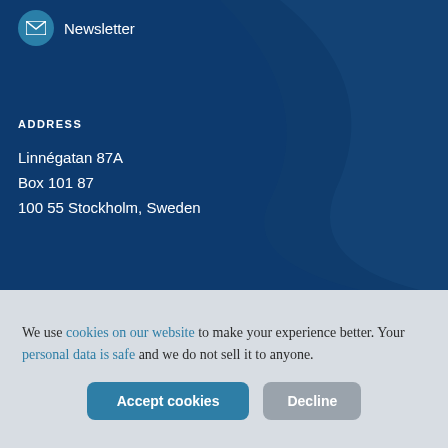Newsletter
ADDRESS
Linnégatan 87A
Box 101 87
100 55 Stockholm, Sweden
We use cookies on our website to make your experience better. Your personal data is safe and we do not sell it to anyone.